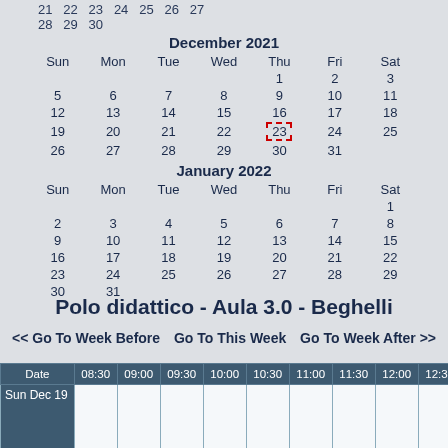21 22 23 24 25 26 27
28 29 30
December 2021
| Sun | Mon | Tue | Wed | Thu | Fri | Sat |
| --- | --- | --- | --- | --- | --- | --- |
|  |  |  |  | 1 | 2 | 3 |
| 5 | 6 | 7 | 8 | 9 | 10 | 11 |
| 12 | 13 | 14 | 15 | 16 | 17 | 18 |
| 19 | 20 | 21 | 22 | 23 | 24 | 25 |
| 26 | 27 | 28 | 29 | 30 | 31 |  |
January 2022
| Sun | Mon | Tue | Wed | Thu | Fri | Sat |
| --- | --- | --- | --- | --- | --- | --- |
|  |  |  |  |  |  | 1 |
| 2 | 3 | 4 | 5 | 6 | 7 | 8 |
| 9 | 10 | 11 | 12 | 13 | 14 | 15 |
| 16 | 17 | 18 | 19 | 20 | 21 | 22 |
| 23 | 24 | 25 | 26 | 27 | 28 | 29 |
| 30 | 31 |  |  |  |  |  |
Polo didattico - Aula 3.0 - Beghelli
<< Go To Week Before    Go To This Week    Go To Week After >>
| Date | 08:30 | 09:00 | 09:30 | 10:00 | 10:30 | 11:00 | 11:30 | 12:00 | 12:30 | 1 |
| --- | --- | --- | --- | --- | --- | --- | --- | --- | --- | --- |
| Sun Dec 19 |  |  |  |  |  |  |  |  |  |  |
| Mon Dec 20 |  |  |  |  |  |  |  |  |  |  |